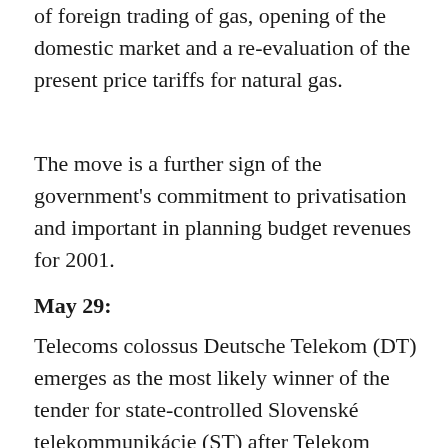of foreign trading of gas, opening of the domestic market and a re-evaluation of the present price tariffs for natural gas.
The move is a further sign of the government's commitment to privatisation and important in planning budget revenues for 2001.
May 29:
Telecoms colossus Deutsche Telekom (DT) emerges as the most likely winner of the tender for state-controlled Slovenské telekommunikácie (ST) after Telekom Austria pulls out of the running for the firm, citing an impending float on the Austrian stock-market and internal restructuring. The news comes